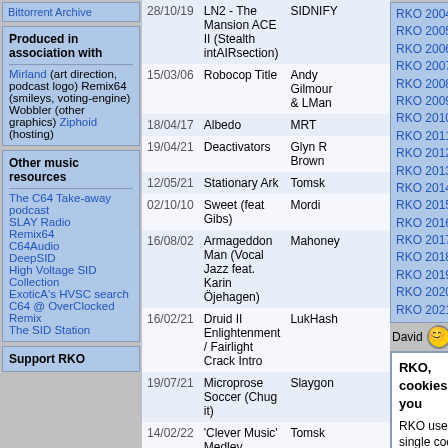Bittorrent Archive
Produced in association with
Mirland (art direction, podcast logo) Remix64 (smileys, voting-engine) Wobbler (other graphics) Ziphoid (hosting)
Other music resources
The C64 Take-away podcast
SLAY Radio
Remix64
C64Audio
DeepSID
High Voltage SID Collection
ExoticA's HVSC search
C64 @ OverClocked Remix
The SID Station
Support RKO
| Date | Track | Artist | Remixer |
| --- | --- | --- | --- |
| 28/10/19 | LN2 - The Mansion ACE II (Stealth intAIRsection) | SIDNIFY |  |
| 15/03/06 | Robocop Title | Andy Gilmour & LMan |  |
| 18/04/17 | Albedo | MRT |  |
| 19/04/21 | Deactivators | Glyn R Brown |  |
| 12/05/21 | Stationary Ark | Tomsk |  |
| 02/10/10 | Sweet (feat Gibs) | Mordi |  |
| 16/08/02 | Armageddon Man (Vocal Jazz feat. Karin Öjehagen) | Mahoney |  |
| 16/02/21 | Druid II Enlightenment / Fairlight Crack Intro | LukHash |  |
| 19/07/21 | Microprose Soccer (Chug it) | Slaygon |  |
| 14/02/22 | 'Clever Music' Medley | Tomsk |  |
| 20/11/21 | Alloyrun | SIDNIFY | Jeroen Tel |
RKO 2004
RKO 2005
RKO 2006
RKO 2007
RKO 2008
RKO 2009
RKO 2010
RKO 2011
RKO 2012
RKO 2013
RKO 2014
RKO 2015
RKO 2016
RKO 2017
RKO 2018
RKO 2019
RKO 2020
RKO 2021
David
RKO, cookies and you
RKO uses a single cookie to keep things running: Last_Visit contains an Epoch timestamp and is used to highlight any remixes added since your last visit.